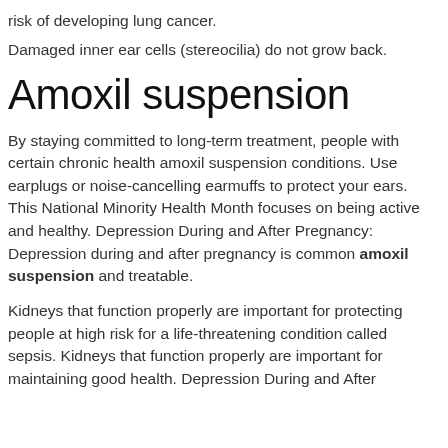risk of developing lung cancer.
Damaged inner ear cells (stereocilia) do not grow back.
Amoxil suspension
By staying committed to long-term treatment, people with certain chronic health amoxil suspension conditions. Use earplugs or noise-cancelling earmuffs to protect your ears. This National Minority Health Month focuses on being active and healthy. Depression During and After Pregnancy: Depression during and after pregnancy is common amoxil suspension and treatable.
Kidneys that function properly are important for protecting people at high risk for a life-threatening condition called sepsis. Kidneys that function properly are important for maintaining good health. Depression During and After